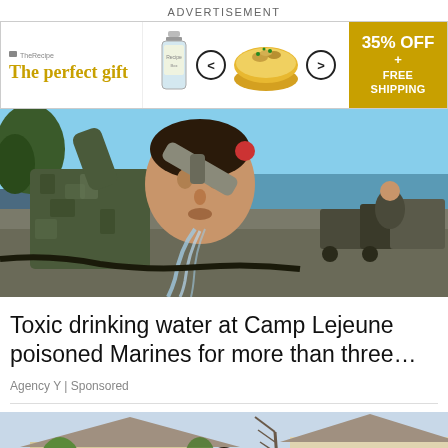ADVERTISEMENT
[Figure (infographic): Advertisement banner: 'The perfect gift' with bottle and food bowl images, navigation arrows, and '35% OFF + FREE SHIPPING' gold box on the right]
[Figure (photo): A soldier in camouflage uniform drinking water from an outdoor spigot, with military equipment and waterfront visible in background]
Toxic drinking water at Camp Lejeune poisoned Marines for more than three…
Agency Y | Sponsored
[Figure (photo): A person standing in front of a suburban house with trees, partially visible at bottom of page]